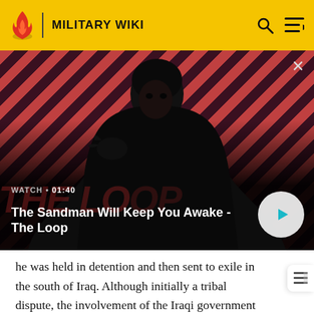MILITARY WIKI
[Figure (screenshot): Video banner ad for 'The Sandman Will Keep You Awake - The Loop' showing a dark figure with a raven on a red and black diagonal striped background. Shows WATCH • 01:40 label and a play button.]
he was held in detention and then sent to exile in the south of Iraq. Although initially a tribal dispute, the involvement of the Iraqi government inadvertently led to the growth of Shaykh Ahmed and Mulla Mustafa Barzani as prominent Kurdish leaders. Throughout these early